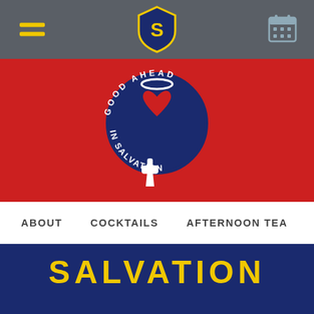[Figure (logo): Gray header bar with yellow hamburger menu icon on left, blue shield logo with yellow 'S' in center, gray calendar icon on right]
[Figure (illustration): Red background section with circular logo: blue circle containing red heart with halo above, white text around circle reading 'GOOD AHEAD IN SALVATION', white hand/gun icon below circle]
ABOUT   COCKTAILS   AFTERNOON TEA
SALVATION
Short drinks for the long nights, with Salvation in every glass.